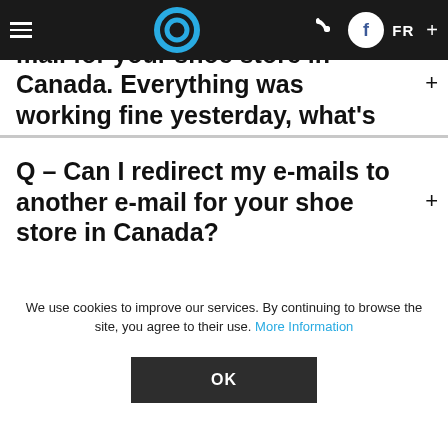Q - I am unable to send an e-mail for your shoe store in Canada. Everything was working fine yesterday, what's happening?
Q - Can I redirect my e-mails to another e-mail for your shoe store in Canada?
More
We use cookies to improve our services. By continuing to browse the site, you agree to their use. More Information
OK